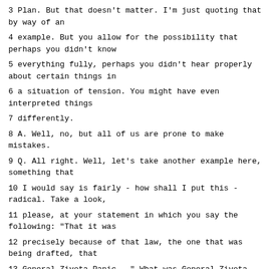3 Plan. But that doesn't matter. I'm just quoting that by way of an
4 example. But you allow for the possibility that perhaps you didn't know
5 everything fully, perhaps you didn't hear properly about certain things in
6 a situation of tension. You might have even interpreted things
7 differently.
8 A. Well, no, but all of us are prone to make mistakes.
9 Q. All right. Well, let's take another example here, something that
10 I would say is fairly - how shall I put this - radical. Take a look,
11 please, at your statement in which you say the following: "That it was
12 precisely because of that law, the one that was being drafted, that
13 General Zivota Panic --" What was General Zivota Panic at the time?